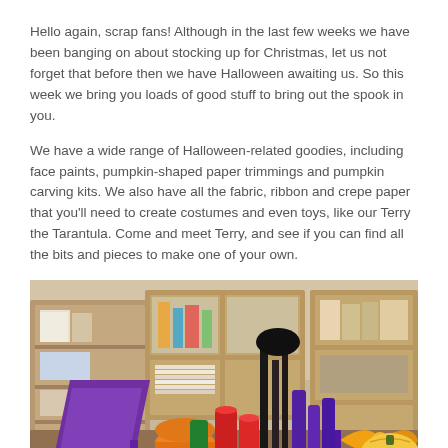Hello again, scrap fans! Although in the last few weeks we have been banging on about stocking up for Christmas, let us not forget that before then we have Halloween awaiting us. So this week we bring you loads of good stuff to bring out the spook in you.
We have a wide range of Halloween-related goodies, including face paints, pumpkin-shaped paper trimmings and pumpkin carving kits. We also have all the fabric, ribbon and crepe paper that you'll need to create costumes and even toys, like our Terry the Tarantula. Come and meet Terry, and see if you can find all the bits and pieces to make one of your own.
[Figure (photo): A photograph of a craft/scrapbooking store interior showing shelving units with supplies in the background. In the foreground are Halloween craft supplies including purple ribbon, orange and red rolled paper/fabric, purple tubes, a jack-o-lantern pumpkin decoration, and various colorful craft materials.]